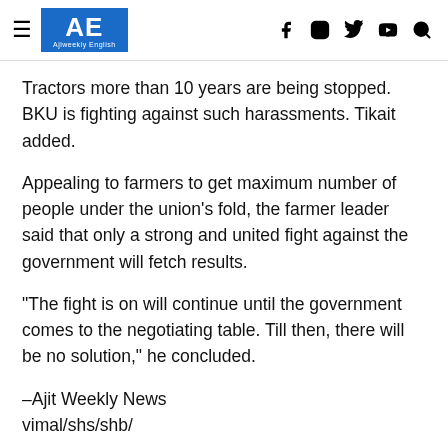AE Ajiweekly English — navigation icons: f, instagram, twitter, youtube, search
Tractors more than 10 years are being stopped. BKU is fighting against such harassments. Tikait added.
Appealing to farmers to get maximum number of people under the union's fold, the farmer leader said that only a strong and united fight against the government will fetch results.
“The fight is on will continue until the government comes to the negotiating table. Till then, there will be no solution,” he concluded.
–Ajit Weekly News
vimal/shs/shb/